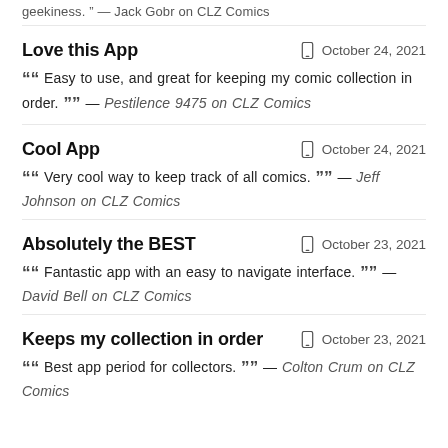geekiness. — Jack Gobr on CLZ Comics
Love this App
Easy to use, and great for keeping my comic collection in order. — Pestilence 9475 on CLZ Comics
Cool App
Very cool way to keep track of all comics. — Jeff Johnson on CLZ Comics
Absolutely the BEST
Fantastic app with an easy to navigate interface. — David Bell on CLZ Comics
Keeps my collection in order
Best app period for collectors. — Colton Crum on CLZ Comics